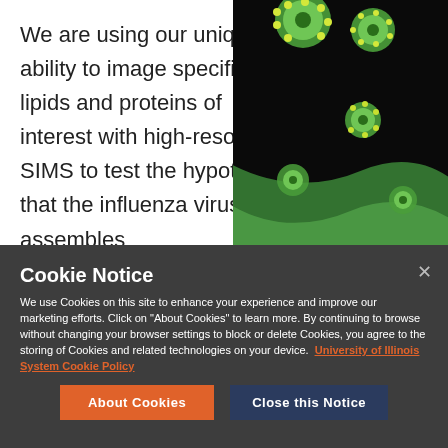We are using our unique ability to image specific lipids and proteins of interest with high-resolution SIMS to test the hypothesis that the influenza virus assembles
[Figure (photo): Colorful microscopy image showing virus-like particles (green spherical structures) interacting with a cell membrane surface, shown against a dark background with vivid green, pink, and purple colors.]
Cookie Notice
We use Cookies on this site to enhance your experience and improve our marketing efforts. Click on “About Cookies” to learn more. By continuing to browse without changing your browser settings to block or delete Cookies, you agree to the storing of Cookies and related technologies on your device. University of Illinois System Cookie Policy